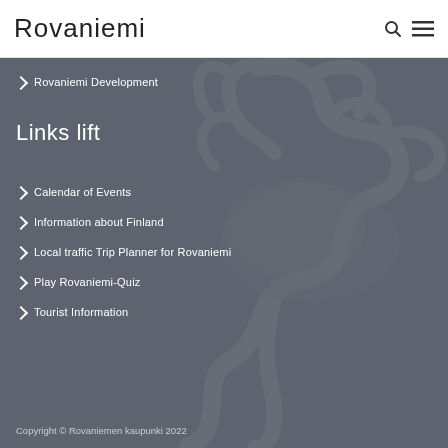Rovaniemi
Rovaniemi Development
Links lift
Calendar of Events
Information about Finland
Local traffic Trip Planner for Rovaniemi
Play Rovaniemi-Quiz
Tourist Information
Copyright © Rovaniemen kaupunki 2022